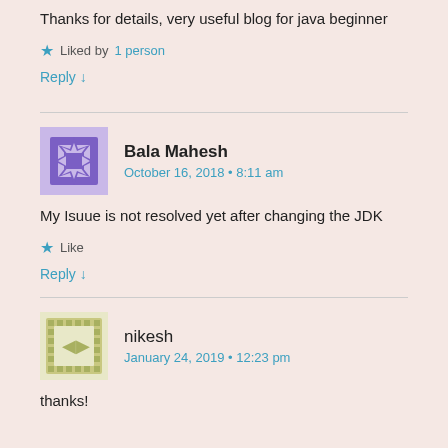Thanks for details, very useful blog for java beginner
Liked by 1 person
Reply ↓
Bala Mahesh
October 16, 2018 • 8:11 am
My Isuue is not resolved yet after changing the JDK
Like
Reply ↓
nikesh
January 24, 2019 • 12:23 pm
thanks!